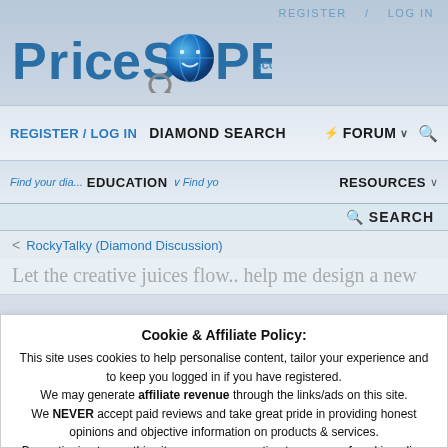REGISTER / LOG IN
[Figure (logo): PriceScope.com logo with globe replacing letter O and magnifier graphic]
REGISTER / LOG IN   DIAMOND SEARCH   FORUM
Find your dia...  EDUCATION  Find yo...  RESOURCES
SEARCH
< RockyTalky (Diamond Discussion)
Let the creative juices flow.. help me design a new
Cookie & Affiliate Policy: This site uses cookies to help personalise content, tailor your experience and to keep you logged in if you have registered. We may generate affiliate revenue through the links/ads on this site. We NEVER accept paid reviews and take great pride in providing honest opinions and objective information on products & services. By continuing to use this site, you are consenting to our use of cookie policy.
Accept   Learn more...